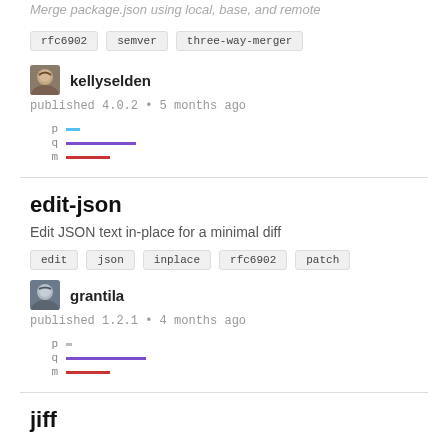Merge package.json using local, base, and remote
rfc6902
semver
three-way-merger
[Figure (illustration): Avatar image for user kellyselden]
kellyselden
published 4.0.2 • 5 months ago
[Figure (other): Dependency bar chart with p (blue short), q (purple long), m (red medium) bars]
edit-json
Edit JSON text in-place for a minimal diff
edit
json
inplace
rfc6902
patch
[Figure (illustration): Avatar image for user grantila]
grantila
published 1.2.1 • 4 months ago
[Figure (other): Dependency bar chart with p (tiny gray), q (purple long), m (red medium) bars]
jiff